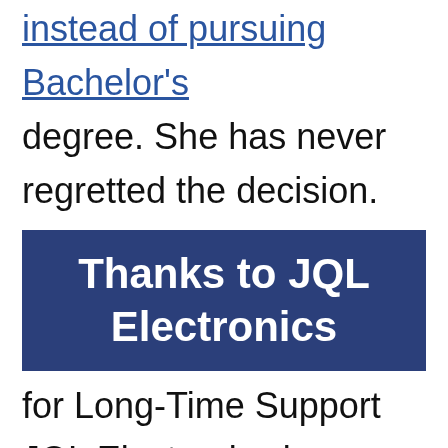instead of pursuing Bachelor's degree. She has never regretted the decision.
[Figure (other): Dark blue banner box with white bold text reading 'Thanks to JQL Electronics']
for Long-Time Support JQL Electronics is a leading manufacturer of microwave